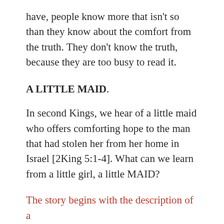have, people know more that isn't so than they know about the comfort from the truth. They don't know the truth, because they are too busy to read it.
A LITTLE MAID.
In second Kings, we hear of a little maid who offers comforting hope to the man that had stolen her from her home in Israel [2King 5:1-4]. What can we learn from a little girl, a little MAID?
The story begins with the description of a